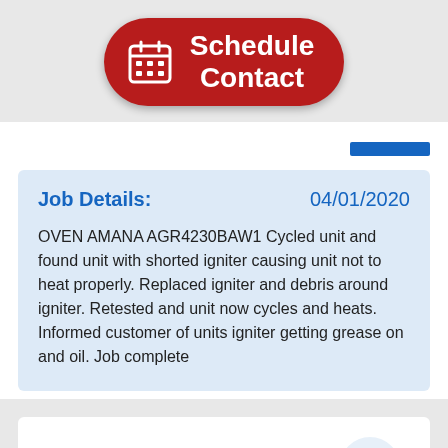[Figure (other): Red rounded button with calendar icon and text 'Schedule Contact']
Job Details: 04/01/2020 OVEN AMANA AGR4230BAW1 Cycled unit and found unit with shorted igniter causing unit not to heat properly. Replaced igniter and debris around igniter. Retested and unit now cycles and heats. Informed customer of units igniter getting grease on and oil. Job complete